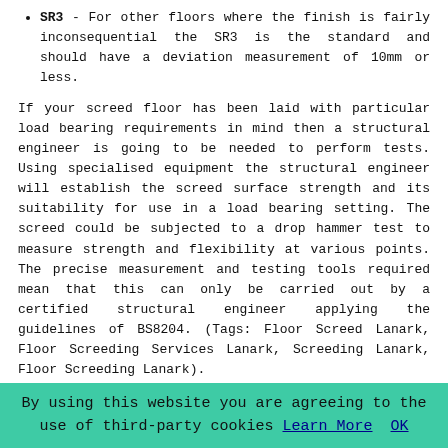SR3 - For other floors where the finish is fairly inconsequential the SR3 is the standard and should have a deviation measurement of 10mm or less.
If your screed floor has been laid with particular load bearing requirements in mind then a structural engineer is going to be needed to perform tests. Using specialised equipment the structural engineer will establish the screed surface strength and its suitability for use in a load bearing setting. The screed could be subjected to a drop hammer test to measure strength and flexibility at various points. The precise measurement and testing tools required mean that this can only be carried out by a certified structural engineer applying the guidelines of BS8204. (Tags: Floor Screed Lanark, Floor Screeding Services Lanark, Screeding Lanark, Floor Screeding Lanark).
Floor screeding services are available in Lanark and also in nearby places like: Carluke, Newbiggin, Auchenheath, Rigside, Kirkfieldbank, Forth, Wiston, Carmichael, Carstairs, Crossford, Hazelbank, Lesmahagow, Ravenstruther, Cartland, and in these postcodes ML11 7QJ, ML11 7QQ, ML11 7RR, ML11 7ER, ML11 1JJ, ML11 7JG, ML11 7JA, ML11 7JA, ML11
By using this website you are agreeing to the use of third-party cookies Learn More  OK